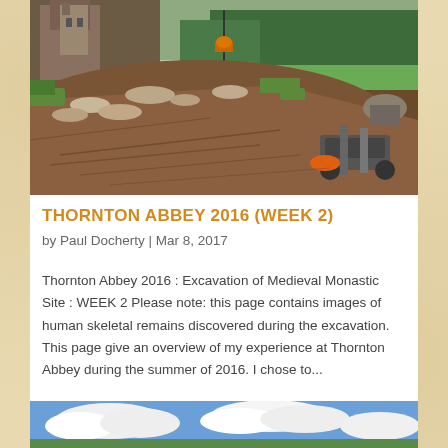[Figure (photo): Archaeological excavation site at Thornton Abbey showing a mound of disturbed earth and stone rubble, with a church tower and green fields visible in the background. Tools and equipment are visible in the foreground right.]
THORNTON ABBEY 2016 (WEEK 2)
by Paul Docherty | Mar 8, 2017
Thornton Abbey 2016 : Excavation of Medieval Monastic Site : WEEK 2 Please note: this page contains images of human skeletal remains discovered during the excavation. This page give an overview of my experience at Thornton Abbey during the summer of 2016. I chose to...
[Figure (photo): Partial view of a second photo showing a blue sky with white clouds, likely another image from the Thornton Abbey excavation site.]